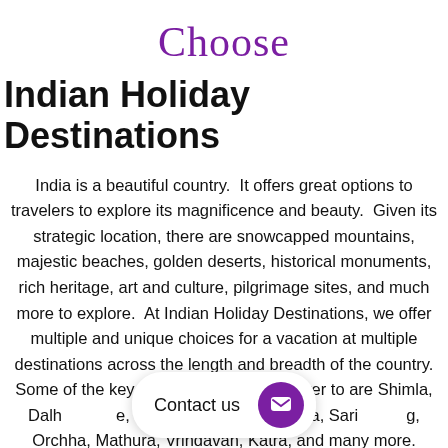Choose
Indian Holiday Destinations
India is a beautiful country.  It offers great options to travelers to explore its magnificence and beauty.  Given its strategic location, there are snowcapped mountains, majestic beaches, golden deserts, historical monuments, rich heritage, art and culture, pilgrimage sites, and much more to explore.  At Indian Holiday Destinations, we offer multiple and unique choices for a vacation at multiple destinations across the length and breadth of the country. Some of the key destinations that we cater to are Shimla, Dalhousie, Manali, Jaipur, Goa, Agra, Sari…, Orchha, Mathura, Vrindavan, Katra, and many more. Choose
Contact us